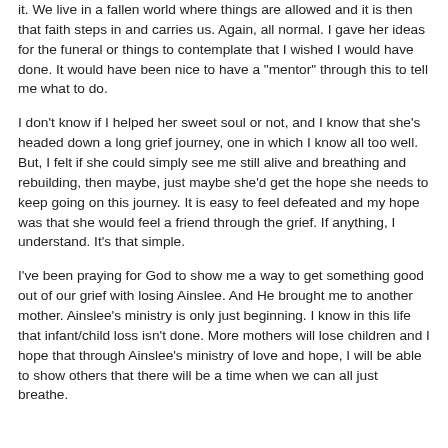it. We live in a fallen world where things are allowed and it is then that faith steps in and carries us. Again, all normal. I gave her ideas for the funeral or things to contemplate that I wished I would have done. It would have been nice to have a "mentor" through this to tell me what to do.
I don't know if I helped her sweet soul or not, and I know that she's headed down a long grief journey, one in which I know all too well. But, I felt if she could simply see me still alive and breathing and rebuilding, then maybe, just maybe she'd get the hope she needs to keep going on this journey. It is easy to feel defeated and my hope was that she would feel a friend through the grief. If anything, I understand. It's that simple.
I've been praying for God to show me a way to get something good out of our grief with losing Ainslee. And He brought me to another mother. Ainslee's ministry is only just beginning. I know in this life that infant/child loss isn't done. More mothers will lose children and I hope that through Ainslee's ministry of love and hope, I will be able to show others that there will be a time when we can all just breathe.